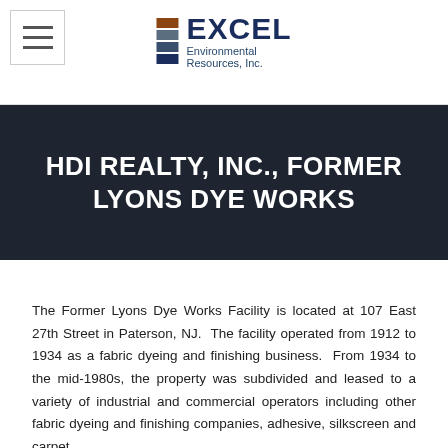Excel Environmental Resources, Inc.
HDI REALTY, INC., FORMER LYONS DYE WORKS
The Former Lyons Dye Works Facility is located at 107 East 27th Street in Paterson, NJ.  The facility operated from 1912 to 1934 as a fabric dyeing and finishing business.  From 1934 to the mid-1980s, the property was subdivided and leased to a variety of industrial and commercial operators including other fabric dyeing and finishing companies, adhesive, silkscreen and carpet